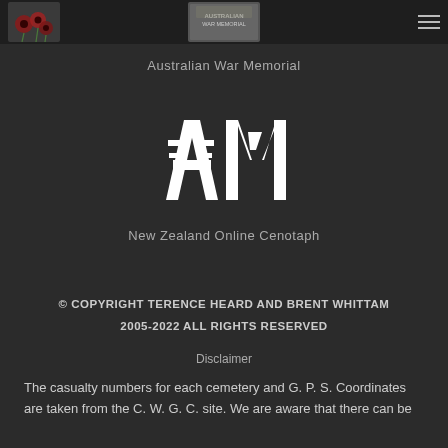Australian War Memorial
[Figure (logo): Red poppies photo logo on left; Australian War Memorial banner logo in center; hamburger menu icon on right]
Australian War Memorial
[Figure (logo): AM stylized white letters logo on dark background]
New Zealand Online Cenotaph
© COPYRIGHT TERENCE HEARD AND BRENT WHITTAM 2005-2022 ALL RIGHTS RESERVED
Disclaimer
The casualty numbers for each cemetery and G. P. S. Coordinates are taken from the C. W. G. C. site. We are aware that there can be